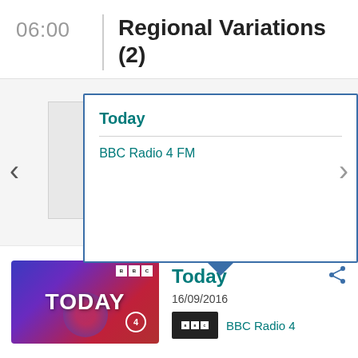06:00
Regional Variations (2)
Today
BBC Radio 4 FM
[Figure (screenshot): BBC Today programme thumbnail with colourful blue/red/purple background and BBC Radio 4 number 4 badge]
Today
16/09/2016
BBC Radio 4